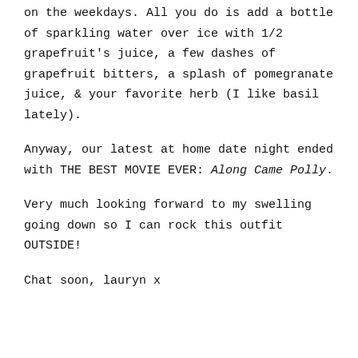on the weekdays. All you do is add a bottle of sparkling water over ice with 1/2 grapefruit's juice, a few dashes of grapefruit bitters, a splash of pomegranate juice, & your favorite herb (I like basil lately).
Anyway, our latest at home date night ended with THE BEST MOVIE EVER: Along Came Polly.
Very much looking forward to my swelling going down so I can rock this outfit OUTSIDE!
Chat soon, lauryn x